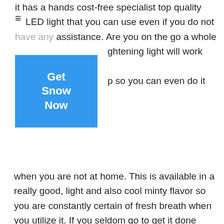it has a hands cost-free specialist top quality LED light that you can use even if you do not have any assistance. Are you on the go a whole ghtening light will work with a smart p so you can even do it
[Figure (other): Blue button overlay with text 'Get Snow Now']
when you are not at home. This is available in a really good, light and also cool minty flavor so you are constantly certain of fresh breath when you utilize it. If you seldom go to get it done skillfully as a result of the discomfort brought on by it irritating your delicate teeth, this is the same things, but at a much reduced dosage. You can obtain comparable outcomes without it bothering you.